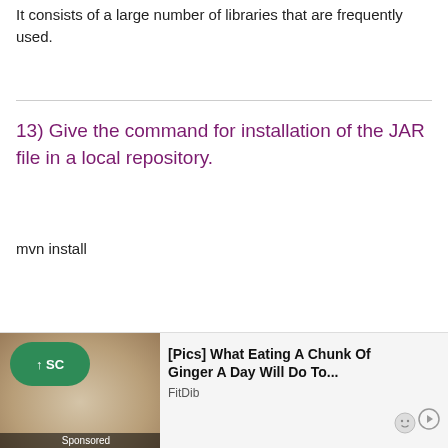It consists of a large number of libraries that are frequently used.
13) Give the command for installation of the JAR file in a local repository.
mvn install
[Figure (other): Advertisement banner: [Pics] What Eating A Chunk Of Ginger A Day Will Do To... by FitDib, with a sponsored image of food and a scroll-to-top button.]